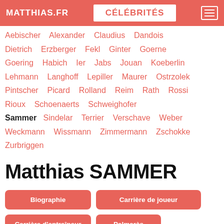MATTHIAS.FR | CÉLÉBRITÉS
Aebischer  Alexander  Claudius  Dandois  Dietrich  Erzberger  Fekl  Ginter  Goerne  Goering  Habich  Ier  Jabs  Jouan  Koeberlin  Lehmann  Langhoff  Lepiller  Maurer  Ostrzolek  Pintscher  Picard  Rolland  Reim  Rath  Rossi  Rioux  Schoenaerts  Schweighofer  Sammer  Sindelar  Terrier  Verschave  Weber  Weckmann  Wissmann  Zimmermann  Zschokke  Zurbriggen
Matthias SAMMER
Biographie
Carrière de joueur
Carrière d'entraîneur
Palmarès